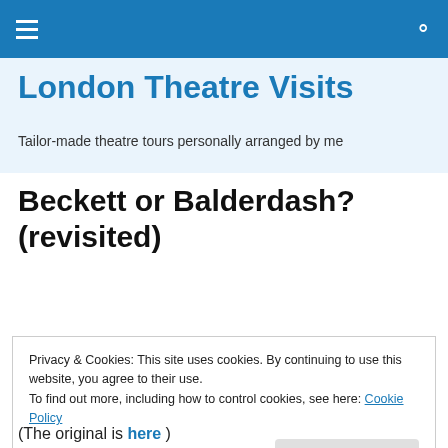London Theatre Visits — navigation bar with hamburger menu and search icon
London Theatre Visits
Tailor-made theatre tours personally arranged by me
Beckett or Balderdash? (revisited)
Privacy & Cookies: This site uses cookies. By continuing to use this website, you agree to their use. To find out more, including how to control cookies, see here: Cookie Policy Close and accept
(The original is here )